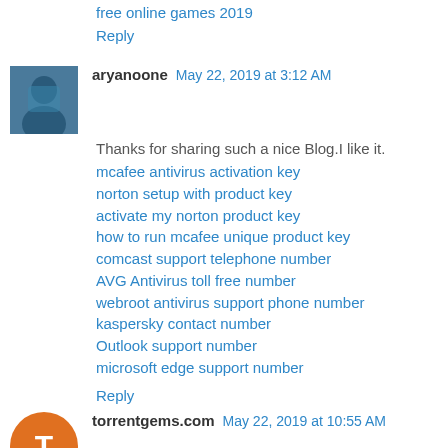free online games 2019
Reply
[Figure (photo): Avatar photo of aryanoone, a person in a blue outfit]
aryanoone  May 22, 2019 at 3:12 AM
Thanks for sharing such a nice Blog.I like it.
mcafee antivirus activation key
norton setup with product key
activate my norton product key
how to run mcafee unique product key
comcast support telephone number
AVG Antivirus toll free number
webroot antivirus support phone number
kaspersky contact number
Outlook support number
microsoft edge support number
Reply
[Figure (logo): Orange circular avatar for torrentgems.com]
torrentgems.com  May 22, 2019 at 10:55 AM